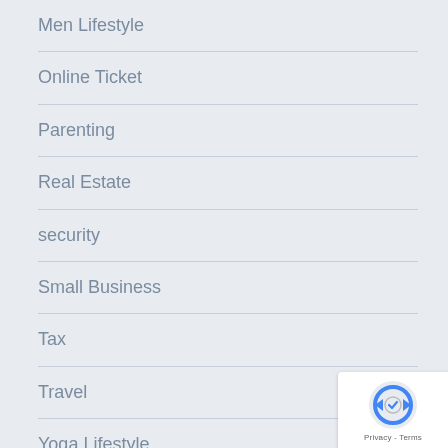Men Lifestyle
Online Ticket
Parenting
Real Estate
security
Small Business
Tax
Travel
Yoga Lifestyle
[Figure (logo): reCAPTCHA badge with logo and Privacy/Terms text]